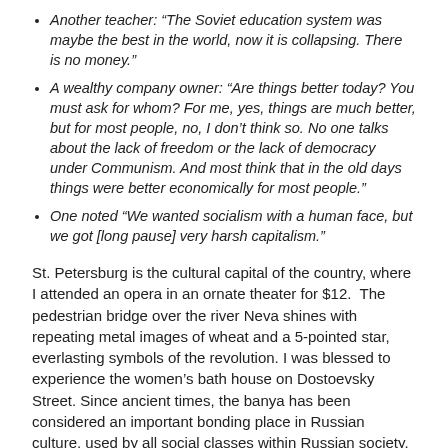Another teacher: “The Soviet education system was maybe the best in the world, now it is collapsing. There is no money.”
A wealthy company owner: “Are things better today? You must ask for whom? For me, yes, things are much better, but for most people, no, I don’t think so. No one talks about the lack of freedom or the lack of democracy under Communism. And most think that in the old days things were better economically for most people.”
One noted “We wanted socialism with a human face, but we got [long pause] very harsh capitalism.”
St. Petersburg is the cultural capital of the country, where I attended an opera in an ornate theater for $12.  The pedestrian bridge over the river Neva shines with repeating metal images of wheat and a 5-pointed star, everlasting symbols of the revolution. I was blessed to experience the women’s bath house on Dostoevsky Street. Since ancient times, the banya has been considered an important bonding place in Russian culture, used by all social classes within Russian society.  A woman there, with very limited English, asked my name. When I said “Riva,” she asked if it’s a “Yiddish name.” I said yes, that my grandmother was from Minsk.  She excitedly told the other women in the room where my “bubbie” was from.  I felt warmed by the soul, and pride, of the Russian